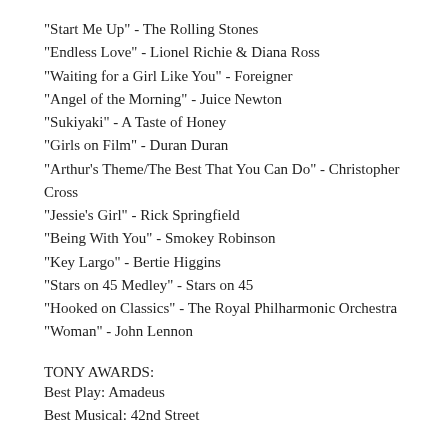"Start Me Up" - The Rolling Stones
"Endless Love" - Lionel Richie & Diana Ross
"Waiting for a Girl Like You" - Foreigner
"Angel of the Morning" - Juice Newton
"Sukiyaki" - A Taste of Honey
"Girls on Film" - Duran Duran
"Arthur's Theme/The Best That You Can Do" - Christopher Cross
"Jessie's Girl" - Rick Springfield
"Being With You" - Smokey Robinson
"Key Largo" - Bertie Higgins
"Stars on 45 Medley" - Stars on 45
"Hooked on Classics" - The Royal Philharmonic Orchestra
"Woman" - John Lennon
TONY AWARDS:
Best Play: Amadeus
Best Musical: 42nd Street